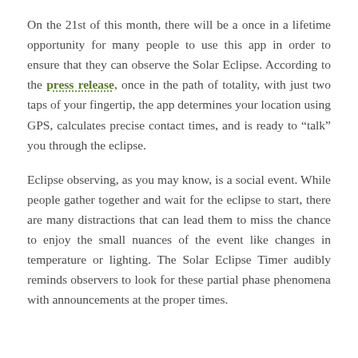On the 21st of this month, there will be a once in a lifetime opportunity for many people to use this app in order to ensure that they can observe the Solar Eclipse. According to the press release, once in the path of totality, with just two taps of your fingertip, the app determines your location using GPS, calculates precise contact times, and is ready to “talk” you through the eclipse.
Eclipse observing, as you may know, is a social event. While people gather together and wait for the eclipse to start, there are many distractions that can lead them to miss the chance to enjoy the small nuances of the event like changes in temperature or lighting. The Solar Eclipse Timer audibly reminds observers to look for these partial phase phenomena with announcements at the proper times.